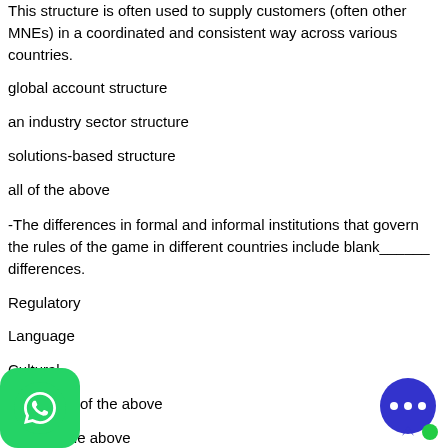This structure is often used to supply customers (often other MNEs) in a coordinated and consistent way across various countries.
global account structure
an industry sector structure
solutions-based structure
all of the above
-The differences in formal and informal institutions that govern the rules of the game in different countries include blank______ differences.
Regulatory
Language
Cultural
of the above
None of the above